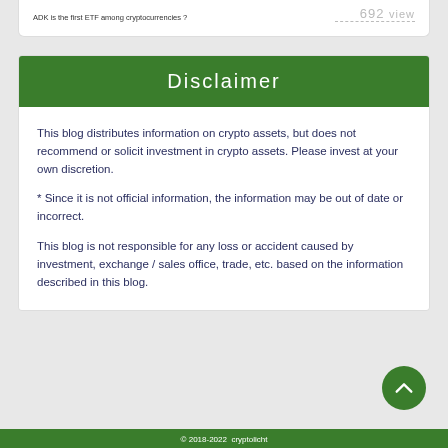ADK is the first ETF among cryptocurrencies?
692 view
Disclaimer
This blog distributes information on crypto assets, but does not recommend or solicit investment in crypto assets. Please invest at your own discretion.
* Since it is not official information, the information may be out of date or incorrect.
This blog is not responsible for any loss or accident caused by investment, exchange / sales office, trade, etc. based on the information described in this blog.
© 2018-2022 cryptolicht